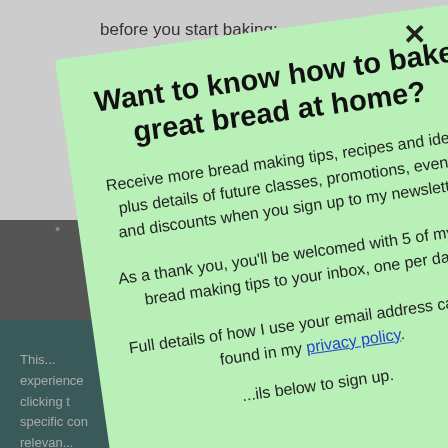before you start baking:
The m...
•
This... experience... clicking t... specific con... relevan...
Want to know how to bake great bread at home?
Receive more bread making tips, recipes and ideas plus details of future classes, promotions, events and discounts when you sign up to my newsletter.
As a thank you, you’ll be welcomed with 5 of my top bread making tips to your inbox, one per day.
Full details of how I use your email address ca... be found in my privacy policy.
...ils below to sign up.